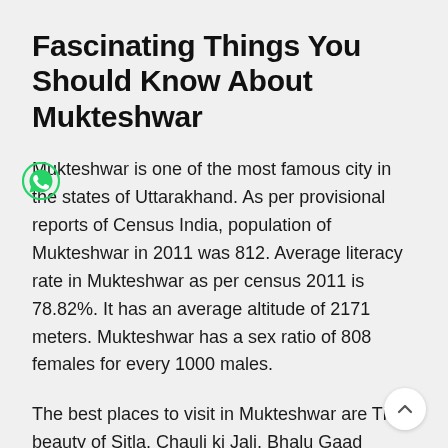Fascinating Things You Should Know About Mukteshwar
Mukteshwar is one of the most famous city in the states of Uttarakhand. As per provisional reports of Census India, population of Mukteshwar in 2011 was 812. Average literacy rate in Mukteshwar as per census 2011 is 78.82%. It has an average altitude of 2171 meters. Mukteshwar has a sex ratio of 808 females for every 1000 males.
The best places to visit in Mukteshwar are The beauty of Sitla, Chauli ki Jali, Bhalu Gaad Waterfalls, Mukteshwar Temple, Indian Veterinary